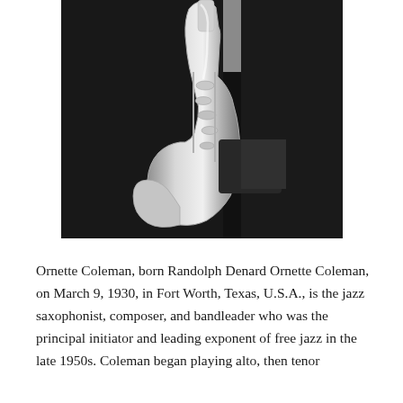[Figure (photo): Black and white photograph of a person in dark clothing holding a saxophone. The image is closely cropped, showing the saxophone prominently in the center-right, with the player's torso and hands visible against a light background.]
Ornette Coleman, born Randolph Denard Ornette Coleman, on March 9, 1930, in Fort Worth, Texas, U.S.A., is the jazz saxophonist, composer, and bandleader who was the principal initiator and leading exponent of free jazz in the late 1950s. Coleman began playing alto, then tenor